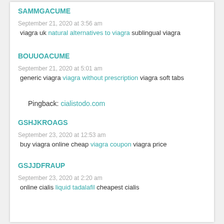SAMMGACUME
September 21, 2020 at 3:56 am
viagra uk natural alternatives to viagra sublingual viagra
BOUUOACUME
September 21, 2020 at 5:01 am
generic viagra viagra without prescription viagra soft tabs
Pingback: cialistodo.com
GSHJKROAGS
September 23, 2020 at 12:53 am
buy viagra online cheap viagra coupon viagra price
GSJJDFRAUP
September 23, 2020 at 2:20 am
online cialis liquid tadalafil cheapest cialis